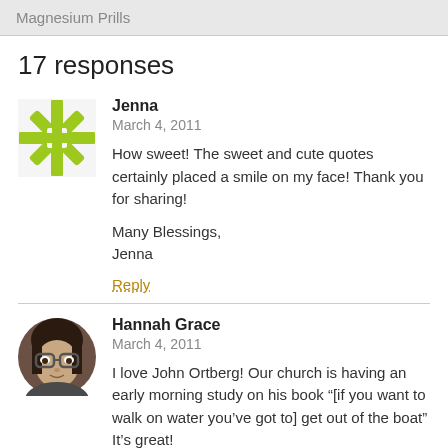Magnesium Prills
17 responses
Jenna
March 4, 2011

How sweet! The sweet and cute quotes certainly placed a smile on my face! Thank you for sharing!

Many Blessings,
Jenna

Reply
Hannah Grace
March 4, 2011

I love John Ortberg! Our church is having an early morning study on his book "[if you want to walk on water you've got to] get out of the boat" It's great!

That “Fire thing” quote is sooo funny. 😉 Around here, we call them “binky”, though I have no idea why. 😍

Love and blessings,